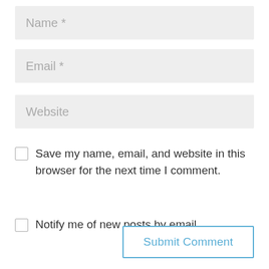[Figure (screenshot): Form input field for Name with placeholder text 'Name *' on grey background]
[Figure (screenshot): Form input field for Email with placeholder text 'Email *' on grey background]
[Figure (screenshot): Form input field for Website with placeholder text 'Website' on grey background]
Save my name, email, and website in this browser for the next time I comment.
Notify me of new posts by email.
Submit Comment